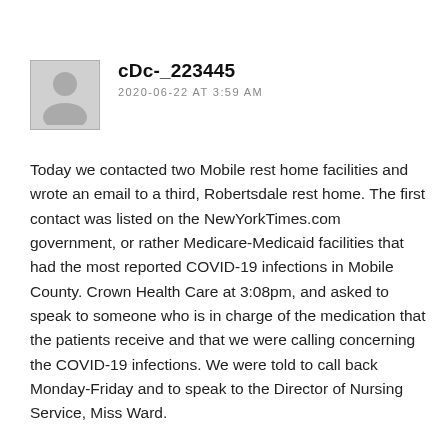[Figure (illustration): Gray avatar placeholder icon showing silhouette of a person]
cDc-_223445
2020-06-22 AT 3:59 AM
Today we contacted two Mobile rest home facilities and wrote an email to a third, Robertsdale rest home. The first contact was listed on the NewYorkTimes.com government, or rather Medicare-Medicaid facilities that had the most reported COVID-19 infections in Mobile County. Crown Health Care at 3:08pm, and asked to speak to someone who is in charge of the medication that the patients receive and that we were calling concerning the COVID-19 infections. We were told to call back Monday-Friday and to speak to the Director of Nursing Service, Miss Ward.